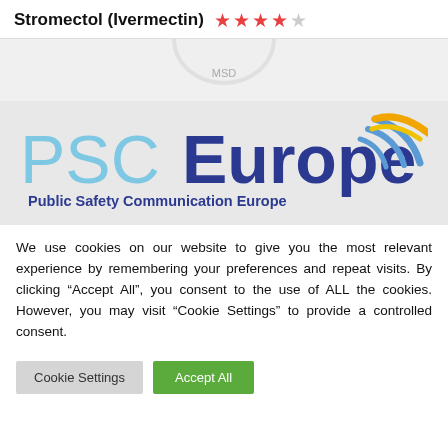Stromectol (Ivermectin) ★★★★☆
[Figure (photo): Partial view of a white round pill/tablet against a light grey background]
[Figure (logo): PSCEurope logo — 'PSC' in light blue, 'Europe' in dark blue with a wifi/signal arc in blue and gold on the right. Below: 'Public Safety Communication Europe' in dark blue bold text.]
We use cookies on our website to give you the most relevant experience by remembering your preferences and repeat visits. By clicking "Accept All", you consent to the use of ALL the cookies. However, you may visit "Cookie Settings" to provide a controlled consent.
Cookie Settings   Accept All